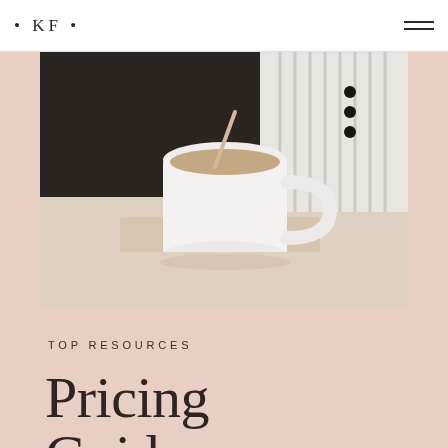• KF •
[Figure (photo): Close-up photo of a white ceramic coffee mug with a small wooden stirrer on a light wooden surface, with dark clothing and a striped fabric in the background. Photo has soft, light tones with a pinkish-beige background.]
TOP RESOURCES
Pricing Guide